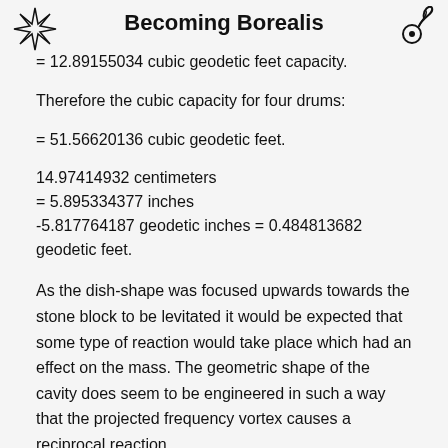Becoming Borealis
= 12.89155034 cubic geodetic feet capacity.
Therefore the cubic capacity for four drums:
= 51.56620136 cubic geodetic feet.
14.97414932 centimeters
= 5.895334377 inches
-5.817764187 geodetic inches = 0.484813682 geodetic feet.
As the dish-shape was focused upwards towards the stone block to be levitated it would be expected that some type of reaction would take place which had an effect on the mass. The geometric shape of the cavity does seem to be engineered in such a way that the projected frequency vortex causes a reciprocal reaction